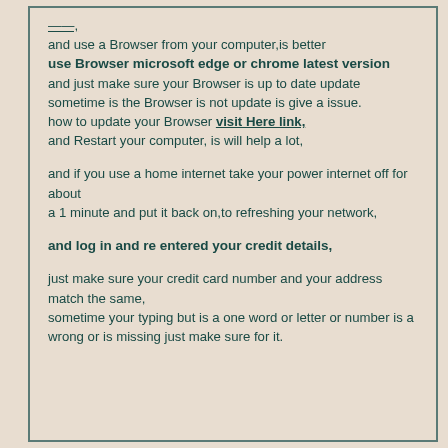and use a Browser from your computer,is better
use Browser microsoft edge or chrome latest version
and just make sure your Browser is up to date update
sometime is the Browser is not update is give a issue.
how to update your Browser visit Here link,
and Restart your computer, is will help a lot,
and if you use a home internet take your power internet off for about
a 1 minute and put it back on,to refreshing your network,
and log in and re entered your credit details,
just make sure your credit card number and your address match the same,
sometime your typing but is a one word or letter or number is a wrong or is missing just make sure for it.